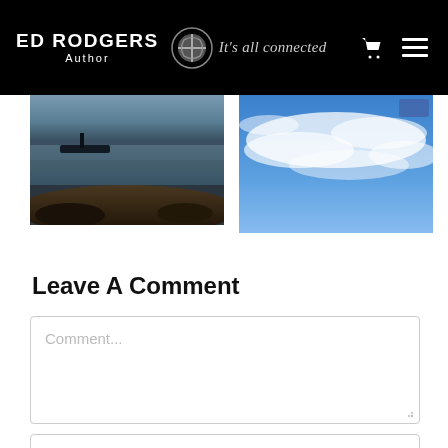ED RODGERS Author — It's all connected
[Figure (photo): Landscape photo showing a rocky shoreline with reflections of sky in water]
[Figure (photo): Blue sky with wispy white clouds]
Leave A Comment
Comment...